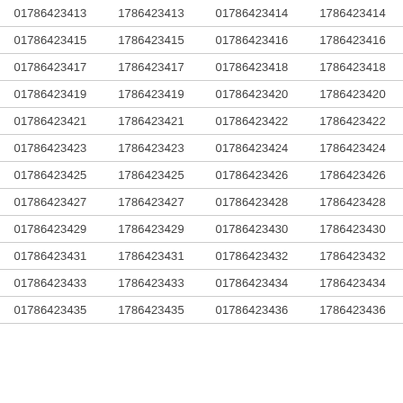| 01786423413 | 1786423413 | 01786423414 | 1786423414 |
| 01786423415 | 1786423415 | 01786423416 | 1786423416 |
| 01786423417 | 1786423417 | 01786423418 | 1786423418 |
| 01786423419 | 1786423419 | 01786423420 | 1786423420 |
| 01786423421 | 1786423421 | 01786423422 | 1786423422 |
| 01786423423 | 1786423423 | 01786423424 | 1786423424 |
| 01786423425 | 1786423425 | 01786423426 | 1786423426 |
| 01786423427 | 1786423427 | 01786423428 | 1786423428 |
| 01786423429 | 1786423429 | 01786423430 | 1786423430 |
| 01786423431 | 1786423431 | 01786423432 | 1786423432 |
| 01786423433 | 1786423433 | 01786423434 | 1786423434 |
| 01786423435 | 1786423435 | 01786423436 | 1786423436 |